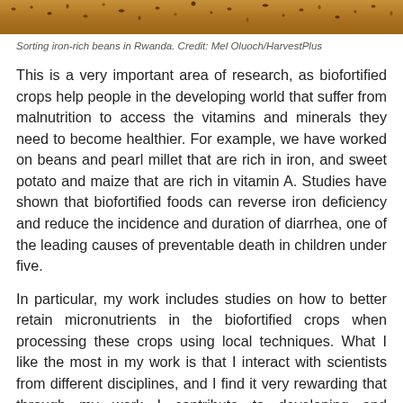[Figure (photo): Close-up photo of iron-rich beans being sorted, showing reddish-brown seeds.]
Sorting iron-rich beans in Rwanda. Credit: Mel Oluoch/HarvestPlus
This is a very important area of research, as biofortified crops help people in the developing world that suffer from malnutrition to access the vitamins and minerals they need to become healthier. For example, we have worked on beans and pearl millet that are rich in iron, and sweet potato and maize that are rich in vitamin A. Studies have shown that biofortified foods can reverse iron deficiency and reduce the incidence and duration of diarrhea, one of the leading causes of preventable death in children under five.
In particular, my work includes studies on how to better retain micronutrients in the biofortified crops when processing these crops using local techniques. What I like the most in my work is that I interact with scientists from different disciplines, and I find it very rewarding that through my work I contribute to developing and promoting nutritious crops. However, there are also